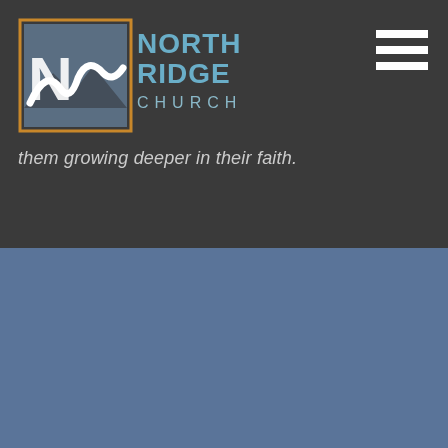[Figure (logo): North Ridge Church logo in top-left header area on dark background. Square icon with NR letters and text NORTH RIDGE CHURCH beside it in blue/orange colors.]
[Figure (infographic): Hamburger menu icon (three white horizontal lines) in top-right corner]
them growing deeper in their faith.
[Figure (logo): North Ridge Church logo centered on blue-grey background. White version of the logo with square NR icon and NORTH RIDGE CHURCH text.]
North Ridge Church